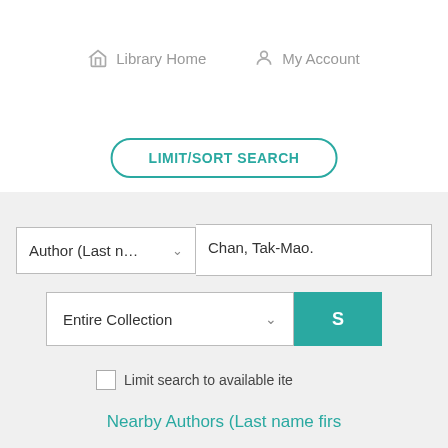Library Home   My Account
LIMIT/SORT SEARCH
Author (Last n...  Chan, Tak-Mao.
Entire Collection
Limit search to available ite
Nearby Authors (Last name firs